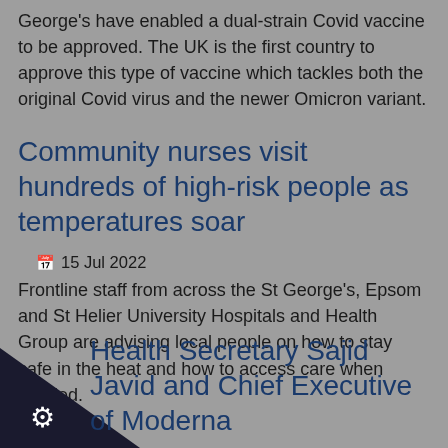George's have enabled a dual-strain Covid vaccine to be approved. The UK is the first country to approve this type of vaccine which tackles both the original Covid virus and the newer Omicron variant.
Community nurses visit hundreds of high-risk people as temperatures soar
📅 15 Jul 2022
Frontline staff from across the St George's, Epsom and St Helier University Hospitals and Health Group are advising local people on how to stay safe in the heat and how to access care when needed.
Health Secretary Sajid Javid and Chief Executive of Moderna